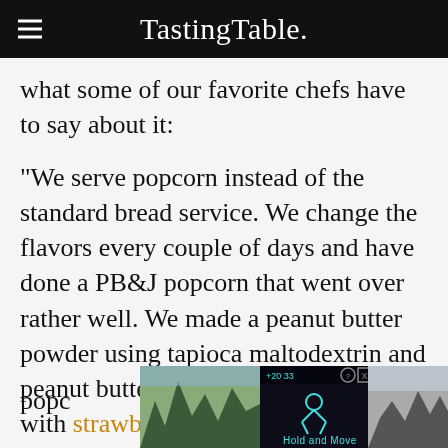Tasting Table.
what some of our favorite chefs have to say about it:
"We serve popcorn instead of the standard bread service. We change the flavors every couple of days and have done a PB&J popcorn that went over rather well. We made a peanut butter powder using tapioca maltodextrin and peanut butter, and infused salted butter with strawberry jam. We use a popcorn kernel called 'jumbo large caramel' that pops into large [...]
[Figure (screenshot): Advertisement overlay at bottom of page showing 'Hold and Move' with outdoor/nature imagery and close/info buttons]